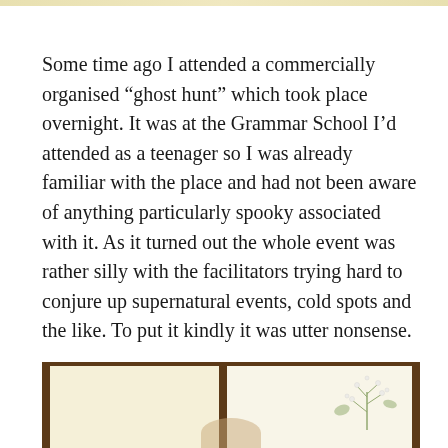Some time ago I attended a commercially organised “ghost hunt” which took place overnight. It was at the Grammar School I’d attended as a teenager so I was already familiar with the place and had not been aware of anything particularly spooky associated with it. As it turned out the whole event was rather silly with the facilitators trying hard to conjure up supernatural events, cold spots and the like. To put it kindly it was utter nonsense.
[Figure (photo): An open book or album with dark brown cover/frame, left page showing cream/blank page, right page showing a botanical illustration of a plant with small white flowers]